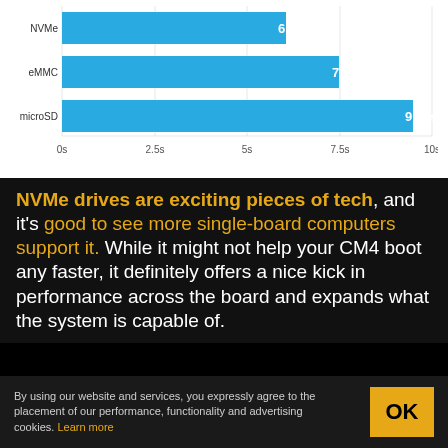[Figure (bar-chart): Boot time by storage type]
NVMe drives are exciting pieces of tech, and it's good to see more single-board computers support it. While it might not help your CM4 boot any faster, it definitely offers a nice kick in performance across the board and expands what the system is capable of.
CONTINUE READING
By using our website and services, you expressly agree to the placement of our performance, functionality and advertising cookies. Learn more